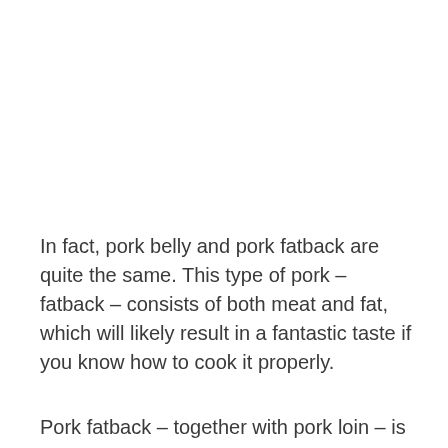In fact, pork belly and pork fatback are quite the same. This type of pork – fatback – consists of both meat and fat, which will likely result in a fantastic taste if you know how to cook it properly.
Pork fatback – together with pork loin – is widely used to make salt pork. You might as